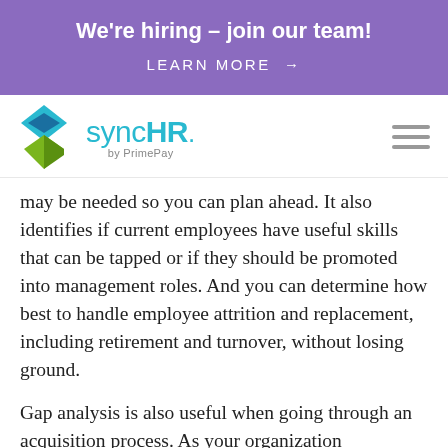[Figure (infographic): Purple banner with white text 'We're hiring – join our team!' and 'LEARN MORE →']
[Figure (logo): syncHR by PrimePay logo with diamond/arrow icon in blue and green, followed by hamburger menu icon]
may be needed so you can plan ahead. It also identifies if current employees have useful skills that can be tapped or if they should be promoted into management roles. And you can determine how best to handle employee attrition and replacement, including retirement and turnover, without losing ground.
Gap analysis is also useful when going through an acquisition process. As your organization